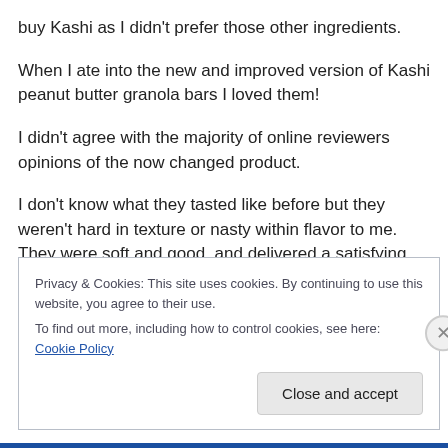buy Kashi as I didn't prefer those other ingredients.
When I ate into the new and improved version of Kashi peanut butter granola bars I loved them!
I didn't agree with the majority of online reviewers opinions of the now changed product.
I don't know what they tasted like before but they weren't hard in texture or nasty within flavor to me. They were soft and good, and delivered a satisfying peanut taste.
Privacy & Cookies: This site uses cookies. By continuing to use this website, you agree to their use.
To find out more, including how to control cookies, see here: Cookie Policy
Close and accept